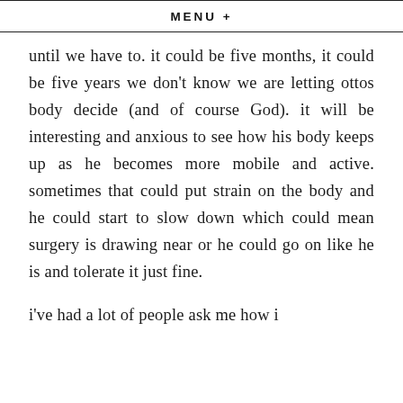MENU +
until we have to. it could be five months, it could be five years we don't know we are letting ottos body decide (and of course God). it will be interesting and anxious to see how his body keeps up as he becomes more mobile and active. sometimes that could put strain on the body and he could start to slow down which could mean surgery is drawing near or he could go on like he is and tolerate it just fine.
i've had a lot of people ask me how i